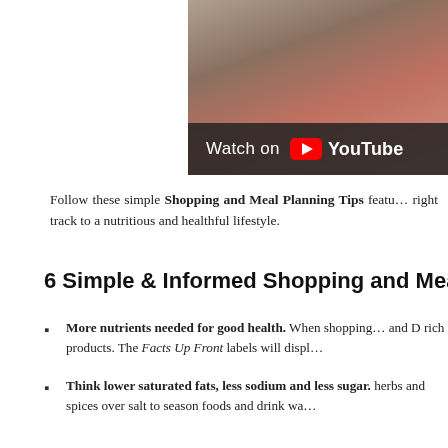[Figure (screenshot): YouTube video thumbnail showing a person in a kitchen setting, with a dark overlay bar at the bottom reading 'Watch on YouTube' with the YouTube play button icon.]
Follow these simple Shopping and Meal Planning Tips featu… right track to a nutritious and healthful lifestyle.
6 Simple & Informed Shopping and Meal Plann…
More nutrients needed for good health. When shopping… and D rich products. The Facts Up Front labels will displ…
Think lower saturated fats, less sodium and less sugar. herbs and spices over salt to season foods and drink wa…